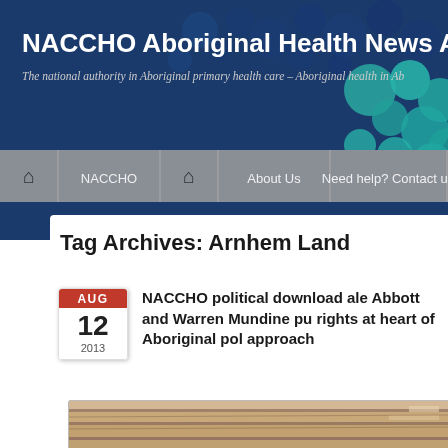NACCHO Aboriginal Health News Al
The national authority in Aboriginal primary health care – Aboriginal health in Ab
[Figure (screenshot): Navigation bar with home icons, NACCHO, About Us, Need help? Contact us menu items on grey background]
Tag Archives: Arnhem Land
NACCHO political download ale Abbott and Warren Mundine pu rights at heart of Aboriginal pol approach
[Figure (photo): Partial photo showing wooden ceiling/rafters of a building]